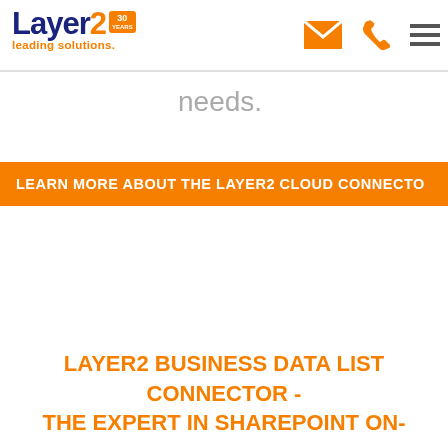Layer2 leading solutions. [logo with 30 years badge, email icon, phone icon, hamburger menu]
needs.
LEARN MORE ABOUT THE LAYER2 CLOUD CONNECTO
LAYER2 BUSINESS DATA LIST CONNECTOR - THE EXPERT IN SHAREPOINT ON-